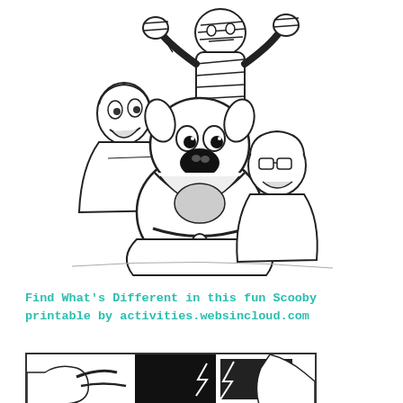[Figure (illustration): Black and white coloring page illustration of Scooby-Doo characters (Shaggy, Scooby-Doo, Velma) being scared by a mummy monster. Line art style typical of children's coloring books.]
Find What's Different in this fun Scooby printable by activities.websincloud.com
[Figure (illustration): Black and white coloring page illustration showing a partial scene, bottom portion of a Scooby-Doo related 'find the difference' activity, with characters visible near a dark doorway or vehicle.]